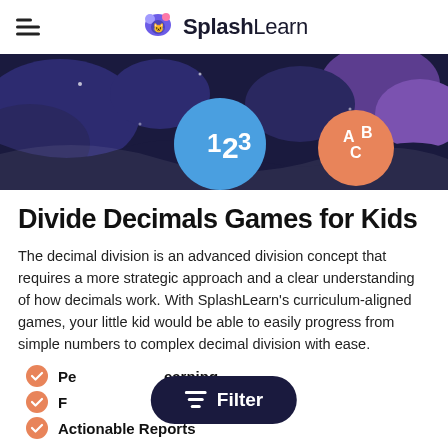SplashLearn
[Figure (illustration): SplashLearn hero banner with dark navy background, colorful blob shapes in purple and blue, a blue circle with '123' and an orange circle with 'ABC' text]
Divide Decimals Games for Kids
The decimal division is an advanced division concept that requires a more strategic approach and a clear understanding of how decimals work. With SplashLearn's curriculum-aligned games, your little kid would be able to easily progress from simple numbers to complex decimal division with ease.
Personalized Learning
Fun
Actionable Reports
[Figure (illustration): Dark pill-shaped Filter button with funnel icon and 'Filter' text]